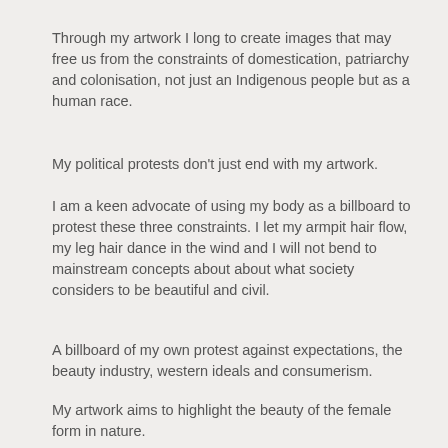Through my artwork I long to create images that may free us from the constraints of domestication, patriarchy and colonisation, not just an Indigenous people but as a human race.
My political protests don’t just end with my artwork.
I am a keen advocate of using my body as a billboard to protest these three constraints. I let my armpit hair flow, my leg hair dance in the wind and I will not bend to mainstream concepts about about what society considers to be beautiful and civil.
A billboard of my own protest against expectations, the beauty industry, western ideals and consumerism.
My artwork aims to highlight the beauty of the female form in nature.